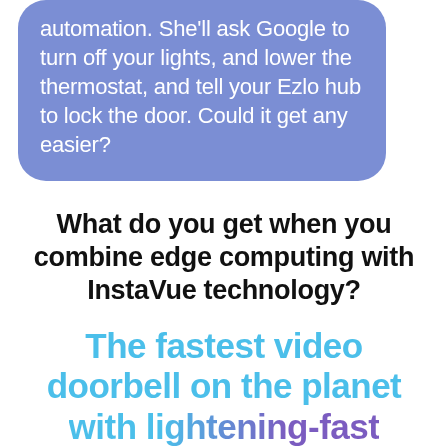automation. She'll ask Google to turn off your lights, and lower the thermostat, and tell your Ezlo hub to lock the door. Could it get any easier?
What do you get when you combine edge computing with InstaVue technology?
The fastest video doorbell on the planet with lightening-fast